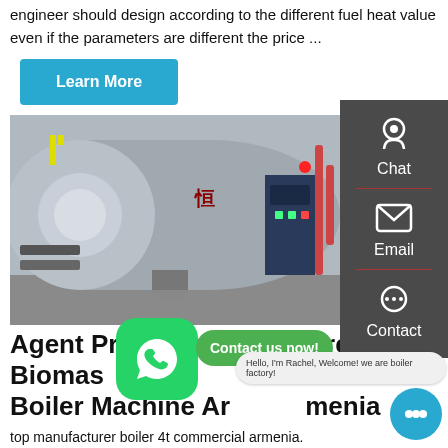engineer should design according to the different fuel heat value even if the parameters are different the price ...
Learn More
[Figure (photo): Industrial boiler machine in a factory setting, large cylindrical horizontal boiler with blue and red components]
Agent Price Commercial 4t Biomass Boiler Machine Armenia
top manufacturer boiler 4t commercial armenia. Commercial Agent 4t coal boiler Indonesia. bd agent for gas fired steam boiler for garments factory. bd agent for gas fired 03:30:34 About Us. Zozen Boiler main products include
[Figure (screenshot): WhatsApp contact button overlay with green background and white WhatsApp logo, plus a 'Contact us now!' green button, and a chat bubble with 'Hello, I'm Rachel, Welcome! we are boiler factory!']